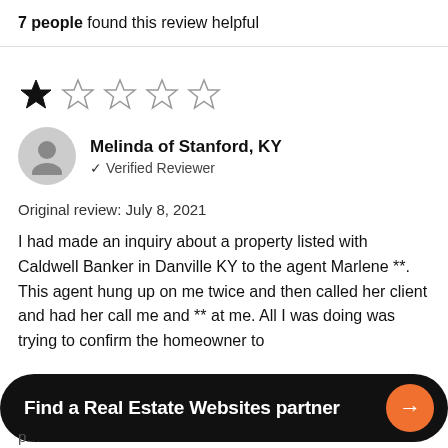7 people found this review helpful
[Figure (other): Star rating: 1 out of 5 stars (one filled black star, four empty outline stars)]
Melinda of Stanford, KY — Verified Reviewer
Original review: July 8, 2021
I had made an inquiry about a property listed with Caldwell Banker in Danville KY to the agent Marlene **. This agent hung up on me twice and then called her client and had her call me and ** at me. All I was doing was trying to confirm the homeowner to
Find a Real Estate Websites partner →